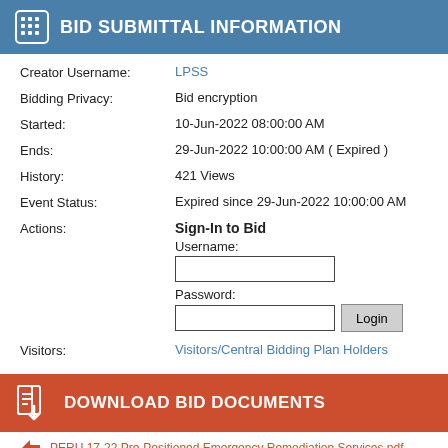BID SUBMITTAL INFORMATION
Creator Username: LPSS
Bidding Privacy: Bid encryption
Started: 10-Jun-2022 08:00:00 AM
Ends: 29-Jun-2022 10:00:00 AM ( Expired )
History: 421 Views
Event Status: Expired since 29-Jun-2022 10:00:00 AM
Actions: Sign-In to Bid
Username:
[input]
Password:
[input] Login
Visitors: Visitors/Central Bidding Plan Holders
DOWNLOAD BID DOCUMENTS
PERU 17-22 Pre-Positioned Emergency Remediation Services.pdf